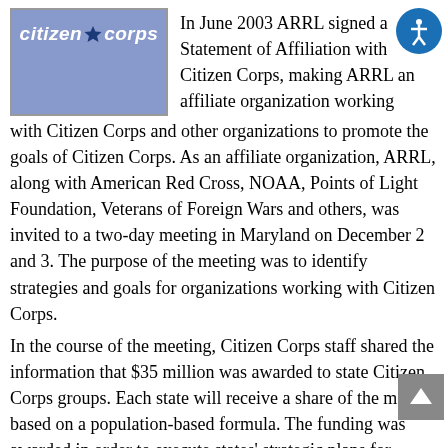[Figure (logo): Citizen Corps logo — blue rectangle with white italic text 'citizen corps' and a star graphic]
In June 2003 ARRL signed a Statement of Affiliation with Citizen Corps, making ARRL an affiliate organization working with Citizen Corps and other organizations to promote the goals of Citizen Corps. As an affiliate organization, ARRL, along with American Red Cross, NOAA, Points of Light Foundation, Veterans of Foreign Wars and others, was invited to a two-day meeting in Maryland on December 2 and 3. The purpose of the meeting was to identify strategies and goals for organizations working with Citizen Corps.
In the course of the meeting, Citizen Corps staff shared the information that $35 million was awarded to state Citizen Corps groups. Each state will receive a share of the money based on a population-based formula. The funding was awarded in order to execute states' strategic plans for disaster prevention and preparedness and recovery – this plan had to be submitted to Citizen Corps by December